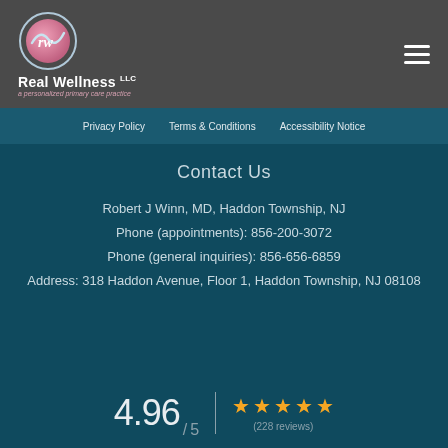[Figure (logo): Real Wellness LLC logo with circular pink graphic and text 'Real Wellness LLC, a personalized primary care practice']
Privacy Policy   Terms & Conditions   Accessibility Notice
Contact Us
Robert J Winn, MD, Haddon Township, NJ
Phone (appointments): 856-200-3072
Phone (general inquiries): 856-656-6859
Address: 318 Haddon Avenue, Floor 1, Haddon Township, NJ 08108
4.96 / 5  ★★★★★  (228 reviews)